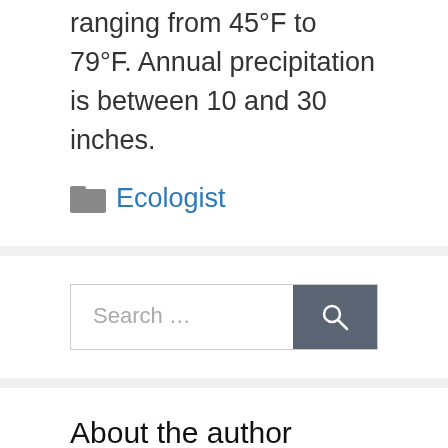ranging from 45°F to 79°F. Annual precipitation is between 10 and 30 inches.
Ecologist
Search ...
About the author